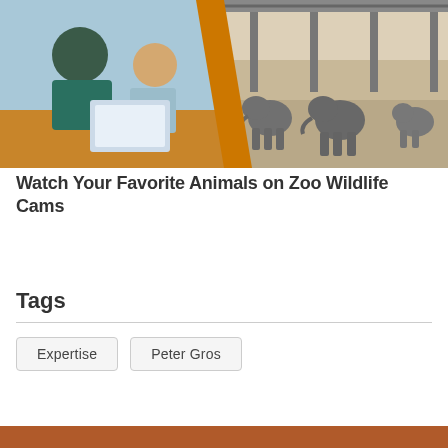[Figure (photo): Composite photo: left side shows a woman and young girl looking at a tablet together at a table; right side shows elephants at a zoo enclosure with metal structure overhead. A diagonal orange divider separates the two halves.]
Watch Your Favorite Animals on Zoo Wildlife Cams
Tags
Expertise
Peter Gros